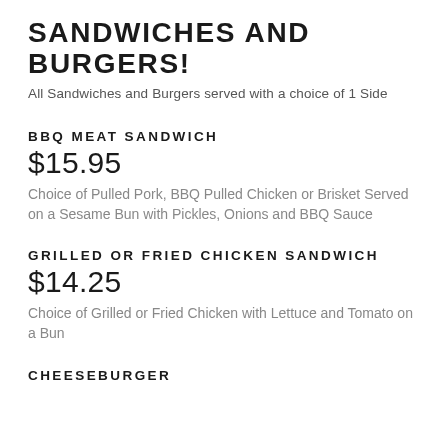SANDWICHES AND BURGERS!
All Sandwiches and Burgers served with a choice of 1 Side
BBQ MEAT SANDWICH
$15.95
Choice of Pulled Pork, BBQ Pulled Chicken or Brisket Served on a Sesame Bun with Pickles, Onions and BBQ Sauce
GRILLED OR FRIED CHICKEN SANDWICH
$14.25
Choice of Grilled or Fried Chicken with Lettuce and Tomato on a Bun
CHEESEBURGER